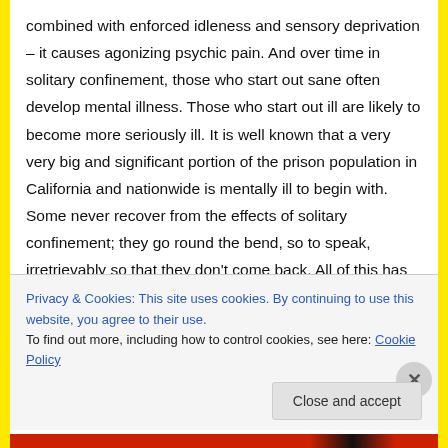combined with enforced idleness and sensory deprivation – it causes agonizing psychic pain. And over time in solitary confinement, those who start out sane often develop mental illness. Those who start out ill are likely to become more seriously ill. It is well known that a very very big and significant portion of the prison population in California and nationwide is mentally ill to begin with. Some never recover from the effects of solitary confinement; they go round the bend, so to speak, irretrievably so that they don't come back. All of this has been known for a very long time. In 1890, the U.S. Court described observed the effects of solitary
Privacy & Cookies: This site uses cookies. By continuing to use this website, you agree to their use.
To find out more, including how to control cookies, see here: Cookie Policy